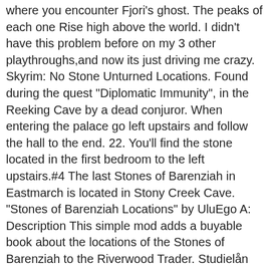where you encounter Fjori's ghost. The peaks of each one Rise high above the world. I didn't have this problem before on my 3 other playthroughs,and now its just driving me crazy. Skyrim: No Stone Unturned Locations. Found during the quest "Diplomatic Immunity", in the Reeking Cave by a dead conjuror. When entering the palace go left upstairs and follow the hall to the end. 22. You'll find the stone located in the first bedroom to the left upstairs.#4 The last Stones of Barenziah in Eastmarch is located in Stony Creek Cave. "Stones of Barenziah Locations" by UluEgo A: Description This simple mod adds a buyable book about the locations of the Stones of Barenziah to the Riverwood Trader. Studielån ålder. 20. Each of them has a sacred mask that enhances their powers.There Other Stone of Barenziah (Unusual Gem) Codes. You'll find the stone on a table near the prison area. Stones of Barenziah Locations. I even checked TWICE in ALL locations and still nothing. You won't find a better image of stone crown where I had been looking at crown where find for years Very nice work